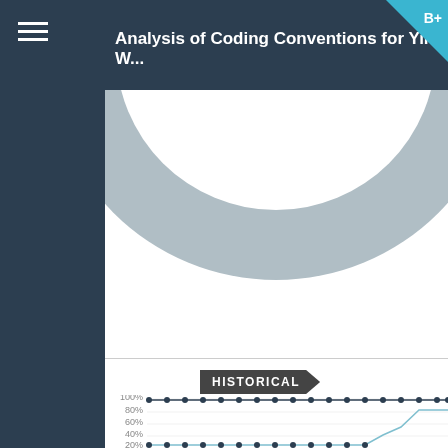Analysis of Coding Conventions for Yii W...
[Figure (donut-chart): Partial donut/pie chart visible at top of page, steel blue/grey color, cropped]
HISTORICAL
[Figure (line-chart): Historical line chart showing percentages from 0% to 100%, with two lines: one near 95% (dark dots) staying nearly flat, and one rising from ~0% to ~60% at the end (light blue line). Y-axis: 0%, 20%, 40%, 60%, 80%, 100%]